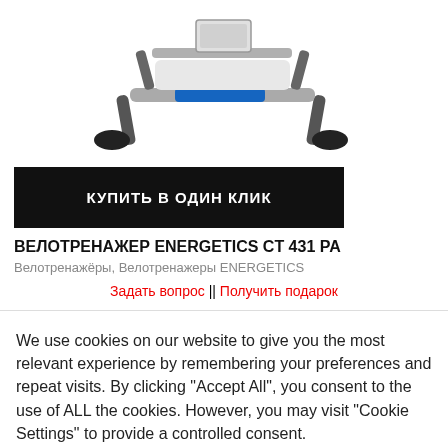[Figure (photo): Partial product image of ENERGETICS CT 431 PA exercise bike, showing the lower/base portion with blue and white frame and black stabilizer feet]
КУПИТЬ В ОДИН КЛИК
ВЕЛОТРЕНАЖЕР ENERGETICS CT 431 PA
Велотренажёры, Велотренажеры ENERGETICS
Задать вопрос || Получить подарок
Цена: 14634  руб.
We use cookies on our website to give you the most relevant experience by remembering your preferences and repeat visits. By clicking "Accept All", you consent to the use of ALL the cookies. However, you may visit "Cookie Settings" to provide a controlled consent.
Cookie Settings
Accept All